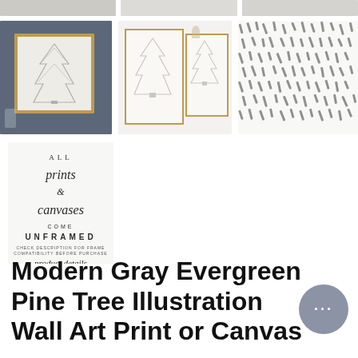[Figure (photo): Top row of three partially visible product photos cropped at top of page]
[Figure (photo): Framed modern gray pine tree illustration art on dark blue-gray background with glass vase]
[Figure (photo): Two framed pine tree illustrations on white background with dried flowers]
[Figure (illustration): Abstract hand-drawn dash/brush stroke pattern in gray on white background]
[Figure (infographic): Text graphic: All prints & canvases come UNFRAMED — see product details]
Modern Gray Evergreen Pine Tree Illustration Wall Art Print or Canvas